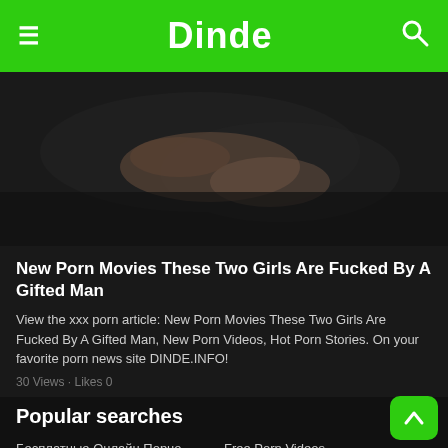Dinde
[Figure (photo): Blurry close-up of a person lying down, dark background, hands visible]
New Porn Movies These Two Girls Are Fucked By A Gifted Man
View the xxx porn article: New Porn Movies These Two Girls Are Fucked By A Gifted Man, New Porn Videos, Hot Porn Stories. On your favorite porn news site DINDE.INFO!
30 Views · Likes 0
Popular searches
Бесплатные Онлайн Порно ...
Free Porn Videos
PORN VIDEOS
Free Porn Videos
Porn Xxx Videos
Free Porn
Porn Videos Tube
Porn Videos
XXX Cartoon Porn
Porn Videos